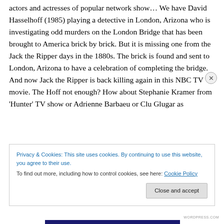during the summer they would make horrible movies with actors and actresses of popular network show… We have David Hasselhoff (1985) playing a detective in London, Arizona who is investigating odd murders on the London Bridge that has been brought to America brick by brick. But it is missing one from the Jack the Ripper days in the 1880s. The brick is found and sent to London, Arizona to have a celebration of completing the bridge. And now Jack the Ripper is back killing again in this NBC TV movie. The Hoff not enough? How about Stephanie Kramer from 'Hunter' TV show or Adrienne Barbaeu or Clu Glugar as
Privacy & Cookies: This site uses cookies. By continuing to use this website, you agree to their use.
To find out more, including how to control cookies, see here: Cookie Policy